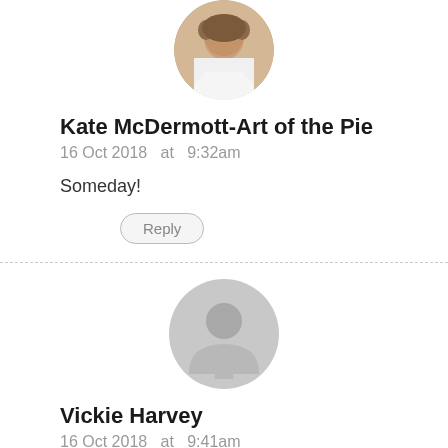[Figure (photo): Circular avatar photo of Kate McDermott showing a person in white shirt]
Kate McDermott-Art of the Pie
16 Oct 2018  at  9:32am
Someday!
Reply
[Figure (illustration): Generic gray circular avatar placeholder with silhouette icon]
Vickie Harvey
16 Oct 2018  at  9:41am